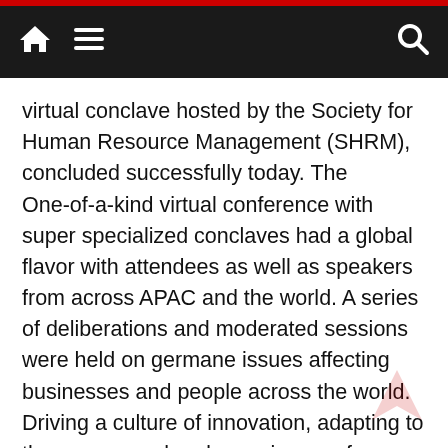Navigation header with home, menu, and search icons
virtual conclave hosted by the Society for Human Resource Management (SHRM), concluded successfully today. The One-of-a-kind virtual conference with super specialized conclaves had a global flavor with attendees as well as speakers from across APAC and the world. A series of deliberations and moderated sessions were held on germane issues affecting businesses and people across the world. Driving a culture of innovation, adapting to the new normal and ensuring a safe a secure work environment are some of the key points of discussion at the conclave. The two day virtual conference and exposition brought together 4000+ participants, including mid & senior level HR professionals and corporate leaders from organizations across all